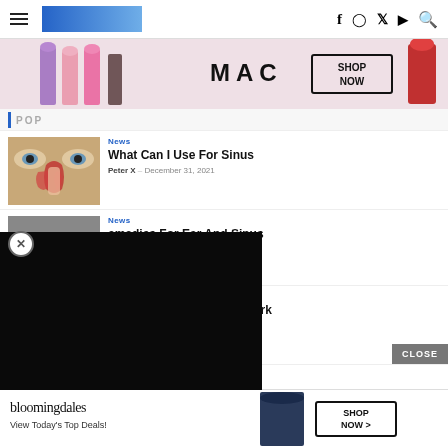Navigation bar with hamburger menu, logo, and social icons (f, Instagram, Twitter, YouTube, Search)
[Figure (screenshot): MAC cosmetics advertisement banner with lipsticks, MAC logo, and SHOP NOW button]
POP
News
What Can I Use For Sinus
Peter X – December 31, 2021
[Figure (photo): Sinus anatomy diagram showing cross-section of nasal passages with red highlighted areas]
[Figure (screenshot): Black overlay advertisement panel covering middle portion of page]
emedies For Ear And Sinus
anuary 22, 2022
Popular
How Does Sinus Spray Work
Peter X – July 21, 2022
[Figure (photo): Addiction to Nasal Spray infographic with person and nasal spray]
CLOSE
[Figure (screenshot): Bloomingdale's advertisement with model in hat and SHOP NOW button, View Today's Top Deals!]